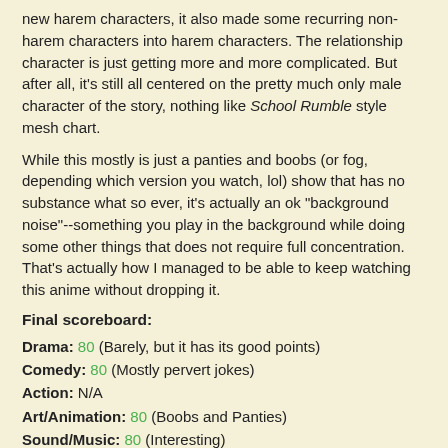new harem characters, it also made some recurring non-harem characters into harem characters. The relationship character is just getting more and more complicated. But after all, it's still all centered on the pretty much only male character of the story, nothing like School Rumble style mesh chart.
While this mostly is just a panties and boobs (or fog, depending which version you watch, lol) show that has no substance what so ever, it's actually an ok "background noise"--something you play in the background while doing some other things that does not require full concentration. That's actually how I managed to be able to keep watching this anime without dropping it.
Final scoreboard:
Drama: 80 (Barely, but it has its good points)
Comedy: 80 (Mostly pervert jokes)
Action: N/A
Art/Animation: 80 (Boobs and Panties)
Sound/Music: 80 (Interesting)